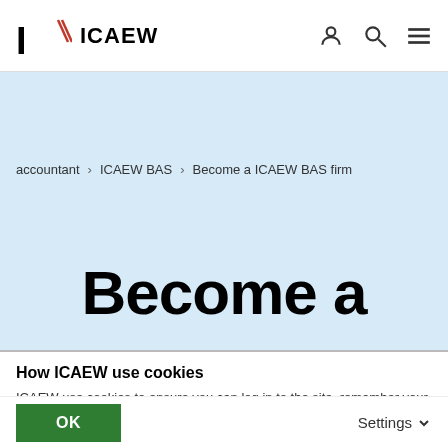ICAEW
accountant > ICAEW BAS > Become a ICAEW BAS firm
Become a
How ICAEW use cookies
ICAEW use cookies to ensure you can log in to the site, remember your preferences and improve your website experience. ICAEW sets cookies across the domains it owns and operates. You can adjust these settings, otherwise we'll assume you're happy to continue.
OK
Settings